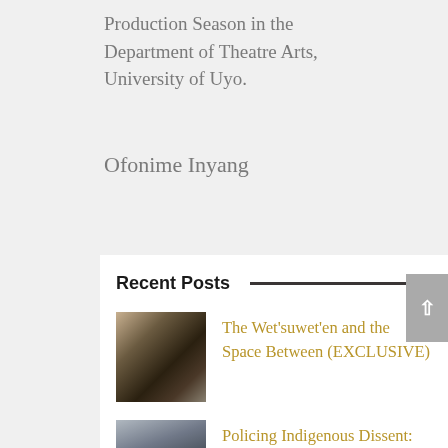Production Season in the Department of Theatre Arts, University of Uyo.
Ofonime Inyang
Recent Posts
The Wet'suwet'en and the Space Between (EXCLUSIVE)
Policing Indigenous Dissent: